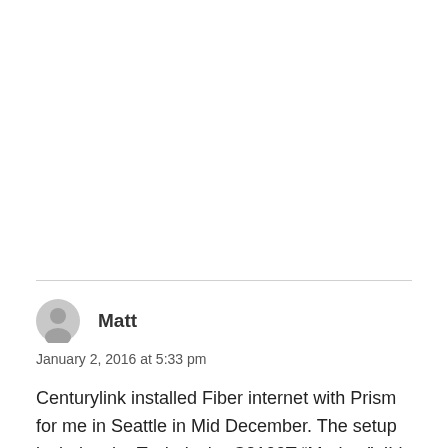Matt
January 2, 2016 at 5:33 pm
Centurylink installed Fiber internet with Prism for me in Seattle in Mid December. The setup includes the Technicolor C2100T “Modem”. I’d like to remove the C2100T from the setup, but unfortunately the